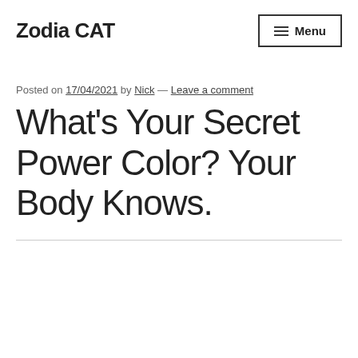Zodia CAT
Posted on 17/04/2021 by Nick — Leave a comment
What's Your Secret Power Color? Your Body Knows.